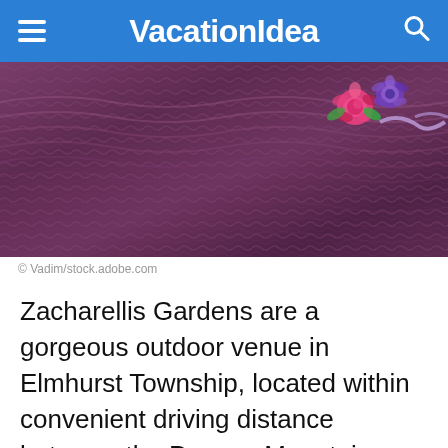VacationIdea
[Figure (photo): Close-up photo of purple/mauve knitted or woven fabric texture with colorful silk ribbon flowers (pink rose, purple flower) in the upper right corner.]
© Vadim/stock.adobe.com
Zacharellis Gardens are a gorgeous outdoor venue in Elmhurst Township, located within convenient driving distance between the Pocono Mountains and the greater Scranton metropolitan area. The event venue is open to the public for a variety of special event